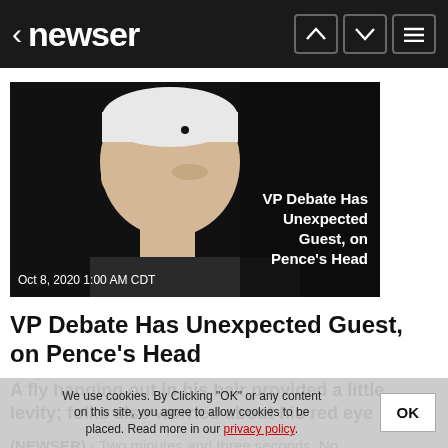< newser
[Figure (photo): Side profile photo of Mike Pence with a fly on his head against a dark background. Overlay text reads: VP Debate Has Unexpected Guest, on Pence's Head. Date stamp: Oct 8, 2020 1:00 AM CDT]
VP Debate Has Unexpected Guest, on Pence's Head
A fly hanging out in his hair provided a little levity; folks also worried about his red eye
(NEWSER) - Two minutes and three seconds. No, that's how long ... Susan ... to rein in the candidates whenever they went over
We use cookies. By Clicking "OK" or any content on this site, you agree to allow cookies to be placed. Read more in our privacy policy.